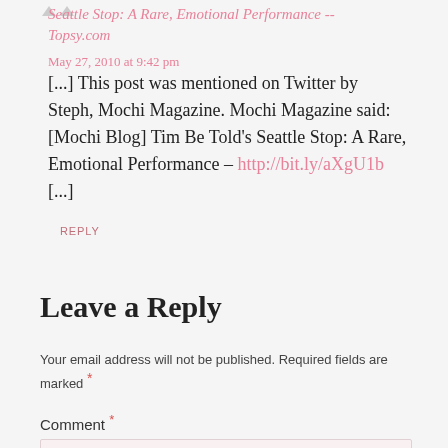Seattle Stop: A Rare, Emotional Performance -- Topsy.com
May 27, 2010 at 9:42 pm
[...] This post was mentioned on Twitter by Steph, Mochi Magazine. Mochi Magazine said: [Mochi Blog] Tim Be Told’s Seattle Stop: A Rare, Emotional Performance – http://bit.ly/aXgU1b [...]
REPLY
Leave a Reply
Your email address will not be published. Required fields are marked *
Comment *